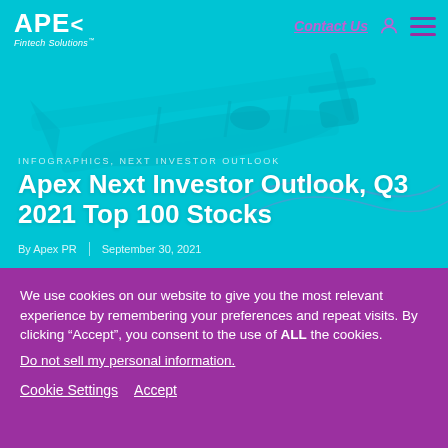APEX Fintech Solutions | Contact Us
[Figure (photo): Aerial photograph of a biplane aircraft seen from below against a cyan/teal background, serving as decorative hero image]
INFOGRAPHICS, NEXT INVESTOR OUTLOOK
Apex Next Investor Outlook, Q3 2021 Top 100 Stocks
By Apex PR  |  September 30, 2021
We use cookies on our website to give you the most relevant experience by remembering your preferences and repeat visits. By clicking “Accept”, you consent to the use of ALL the cookies.
Do not sell my personal information.
Cookie Settings   Accept